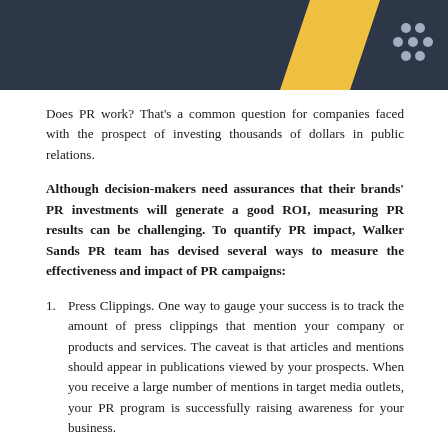[Figure (illustration): Dark navy header bar with yellow chevron/arrow shape on the right side and a small logo icon in the top-right corner]
Does PR work? That's a common question for companies faced with the prospect of investing thousands of dollars in public relations.
Although decision-makers need assurances that their brands' PR investments will generate a good ROI, measuring PR results can be challenging. To quantify PR impact, Walker Sands PR team has devised several ways to measure the effectiveness and impact of PR campaigns:
Press Clippings. One way to gauge your success is to track the amount of press clippings that mention your company or products and services. The caveat is that articles and mentions should appear in publications viewed by your prospects. When you receive a large number of mentions in target media outlets, your PR program is successfully raising awareness for your business.
Media Impressions. Another method of measuring PR...